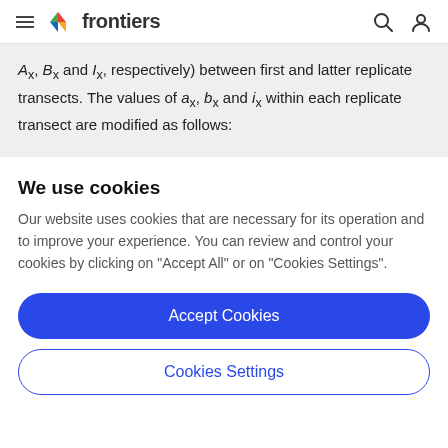frontiers
Ax, Bx and Ix, respectively) between first and latter replicate transects. The values of ax, bx and ix within each replicate transect are modified as follows:
We use cookies
Our website uses cookies that are necessary for its operation and to improve your experience. You can review and control your cookies by clicking on "Accept All" or on "Cookies Settings".
Accept Cookies
Cookies Settings